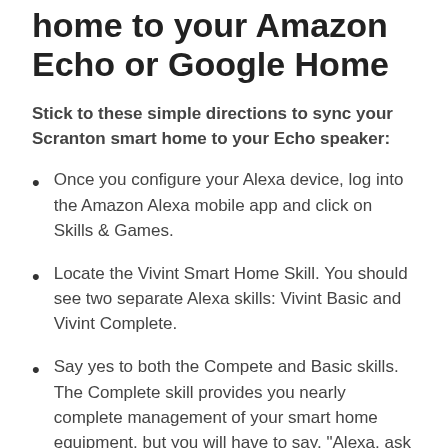home to your Amazon Echo or Google Home
Stick to these simple directions to sync your Scranton smart home to your Echo speaker:
Once you configure your Alexa device, log into the Amazon Alexa mobile app and click on Skills & Games.
Locate the Vivint Smart Home Skill. You should see two separate Alexa skills: Vivint Basic and Vivint Complete.
Say yes to both the Compete and Basic skills. The Complete skill provides you nearly complete management of your smart home equipment, but you will have to say, "Alexa, ask Vivint to set the alarms." The Basic skill empowers you to adjust